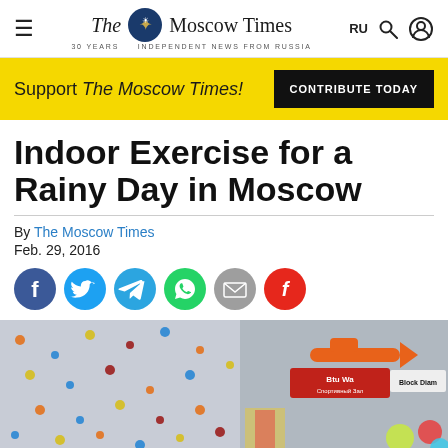The Moscow Times — INDEPENDENT NEWS FROM RUSSIA
Support The Moscow Times! CONTRIBUTE TODAY
Indoor Exercise for a Rainy Day in Moscow
By The Moscow Times
Feb. 29, 2016
[Figure (illustration): Social media sharing icons: Facebook, Twitter, Telegram, WhatsApp, Email, Flipboard]
[Figure (photo): Indoor climbing wall with colorful holds on left, and an indoor sports/play area visible on the right with orange airplane decoration and signage including 'Block Diam' and 'Btu Wa']